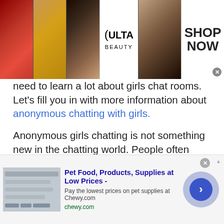[Figure (photo): Top advertisement banner for Ulta Beauty showing makeup imagery (lips, brush, eyes) with Ulta logo and 'SHOP NOW' text]
need to learn a lot about girls chat rooms. Let's fill you in with more information about anonymous chatting with girls.
Anonymous girls chatting is not something new in the chatting world. People often prefer hiding their identities to break the ice while chatting with the girl. However, it is also true that nobody knows how a random chat started with anonymous chatting may end up in an exciting date.
What is fascinating about anonymous chat is that your
[Figure (screenshot): Bottom advertisement for Chewy.com - Pet Food, Products, Supplies at Low Prices. Pay the lowest prices on pet supplies at Chewy.com. chewy.com. Includes navigation arrow button.]